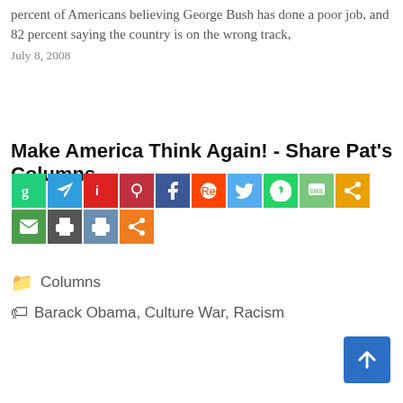percent of Americans believing George Bush has done a poor job, and 82 percent saying the country is on the wrong track,
July 8, 2008
Make America Think Again! - Share Pat's Columns...
[Figure (infographic): Row of social media share buttons including Gab, Telegram, MeWe, Parler, Facebook, Reddit, Twitter, WhatsApp, SMS, ShareThis, Email, Print, and two more buttons (print and share).]
Columns
Barack Obama, Culture War, Racism
< Pastor to the President?
> The “Isms” That Bedevil Bush